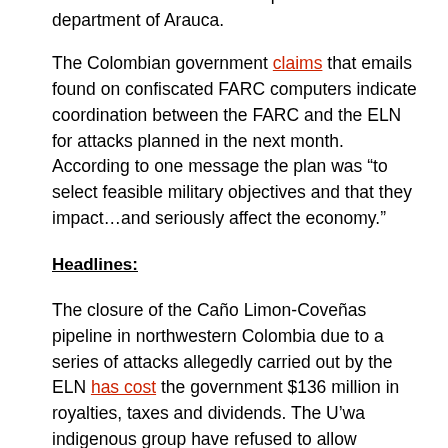workers for multinational corporations in the department of Arauca.
The Colombian government claims that emails found on confiscated FARC computers indicate coordination between the FARC and the ELN for attacks planned in the next month. According to one message the plan was “to select feasible military objectives and that they impact…and seriously affect the economy.”
Headlines:
The closure of the Caño Limon-Coveñas pipeline in northwestern Colombia due to a series of attacks allegedly carried out by the ELN has cost the government $136 million in royalties, taxes and dividends. The U’wa indigenous group have refused to allow workers access to their land in order to repair to the pipeline. Negotiations with the group ended in failure for the government with the group’s spokesperson saying “The proposals they offered weren’t close to what we were demanding…We will continue to not authorize the repair of the oil pipe.”